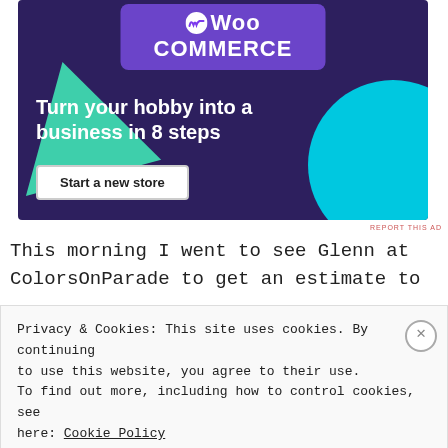[Figure (screenshot): WooCommerce advertisement banner with dark purple background, green triangle shape, blue circle, WooCommerce logo, tagline 'Turn your hobby into a business in 8 steps', and 'Start a new store' button]
This morning I went to see Glenn at ColorsOnParade to get an estimate to
Privacy & Cookies: This site uses cookies. By continuing to use this website, you agree to their use. To find out more, including how to control cookies, see here: Cookie Policy
Close and accept